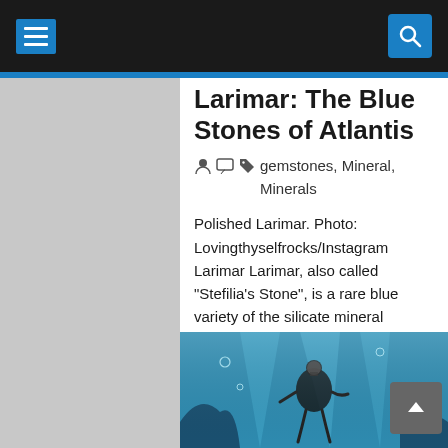Navigation bar with hamburger menu and search icon
Larimar: The Blue Stones of Atlantis
gemstones, Mineral, Minerals
Polished Larimar. Photo: Lovingthyselfrocks/Instagram Larimar Larimar, also called "Stefilia's Stone", is a rare blue variety of the silicate mineral pectolite found only in the Dominican Republic, in the Caribbean. Its coloration varies from whit… Read more »
[Figure (photo): Underwater photo showing a diver in blue water, likely related to Larimar or Caribbean diving]